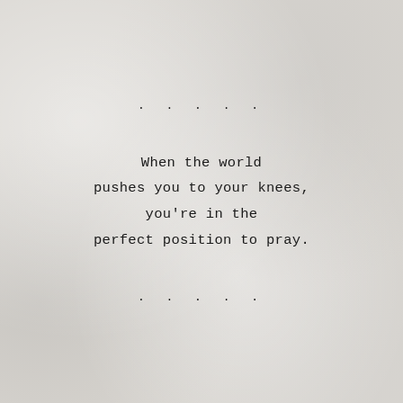. . . . .
When the world
pushes you to your knees,
you're in the
perfect position to pray.
. . . . .